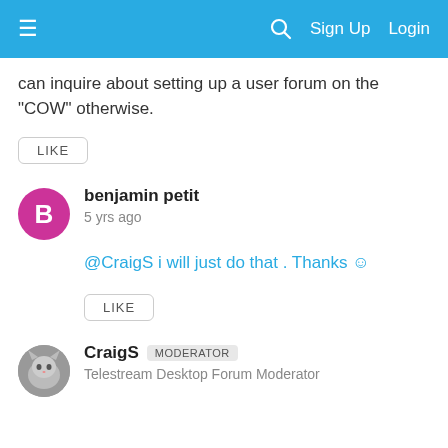≡   🔍  Sign Up  Login
can inquire about setting up a user forum on the "COW" otherwise.
LIKE
benjamin petit
5 yrs ago
@CraigS i will just do that . Thanks 🙂
LIKE
CraigS  MODERATOR
Telestream Desktop Forum Moderator